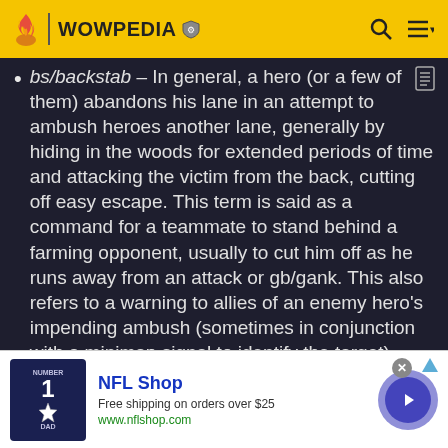WOWPEDIA
bs/backstab – In general, a hero (or a few of them) abandons his lane in an attempt to ambush heroes another lane, generally by hiding in the woods for extended periods of time and attacking the victim from the back, cutting off easy escape. This term is said as a command for a teammate to stand behind a farming opponent, usually to cut him off as he runs away from an attack or gb/gank. This also refers to a warning to allies of an enemy hero's impending ambush (sometimes in conjunction with a minimap signal to identify the target).
creep – A creep is a unit that is not controlled by a
[Figure (infographic): NFL Shop advertisement banner with jersey image, NFL Shop title, free shipping text, www.nflshop.com URL, and a purple circle with arrow button]